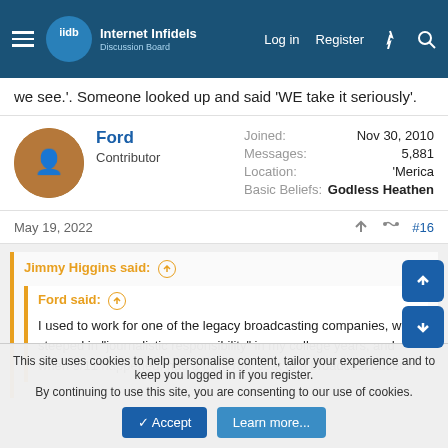Internet Infidels - Navigation bar with Log in, Register links
we see.'. Someone looked up and said 'WE take it seriously'.
Ford
Contributor
Joined: Nov 30, 2010
Messages: 5,881
Location: 'Merica
Basic Beliefs: Godless Heathen
May 19, 2022  #16
Jimmy Higgins said:
Ford said:
I used to work for one of the legacy broadcasting companies, was steeped in "journalistic responsibility" in my college years, and when 9/11 happened, had a front row seat to a broadcast outlet
This site uses cookies to help personalise content, tailor your experience and to keep you logged in if you register.
By continuing to use this site, you are consenting to our use of cookies.